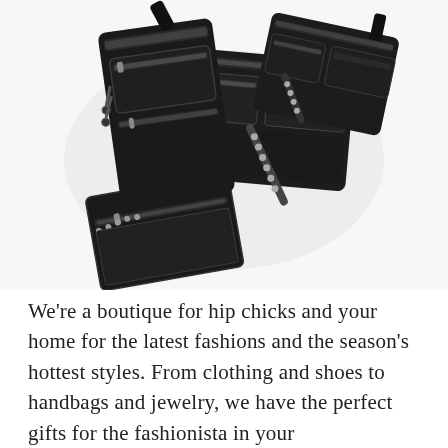[Figure (photo): Collection of black crossbody and fanny pack bags with silver zippers and studded straps arranged overlapping on a white background.]
We're a boutique for hip chicks and your home for the latest fashions and the season's hottest styles. From clothing and shoes to handbags and jewelry, we have the perfect gifts for the fashionista in your